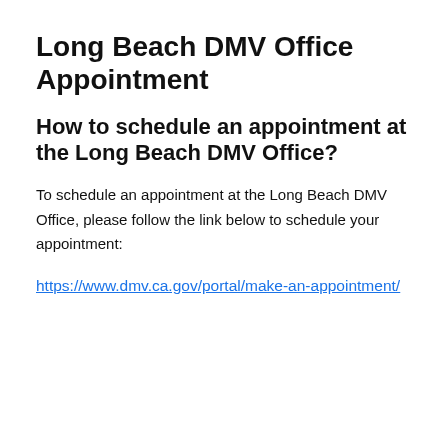Long Beach DMV Office Appointment
How to schedule an appointment at the Long Beach DMV Office?
To schedule an appointment at the Long Beach DMV Office, please follow the link below to schedule your appointment:
https://www.dmv.ca.gov/portal/make-an-appointment/